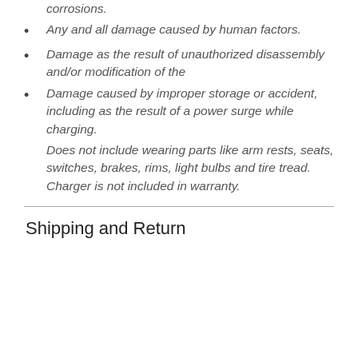overheating the device, and chemical corrosions.
Any and all damage caused by human factors.
Damage as the result of unauthorized disassembly and/or modification of the
Damage caused by improper storage or accident, including as the result of a power surge while charging.
Does not include wearing parts like arm rests, seats, switches, brakes, rims, light bulbs and tire tread. Charger is not included in warranty.
Shipping and Return